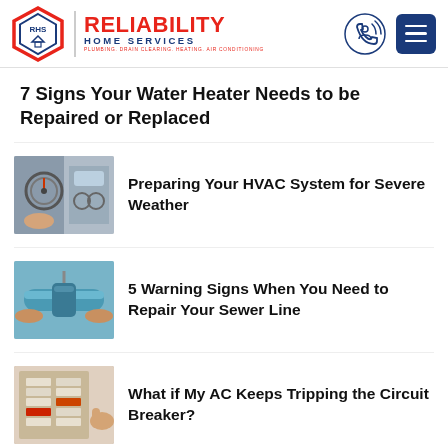Reliability Home Services — PLUMBING, DRAIN CLEARING, HEATING, AIR CONDITIONING
7 Signs Your Water Heater Needs to be Repaired or Replaced
[Figure (photo): HVAC gauges being used on equipment]
Preparing Your HVAC System for Severe Weather
[Figure (photo): Blue pipe being worked on, plumbing/sewer line repair]
5 Warning Signs When You Need to Repair Your Sewer Line
[Figure (photo): Electrical circuit breaker panel with hand]
What if My AC Keeps Tripping the Circuit Breaker?